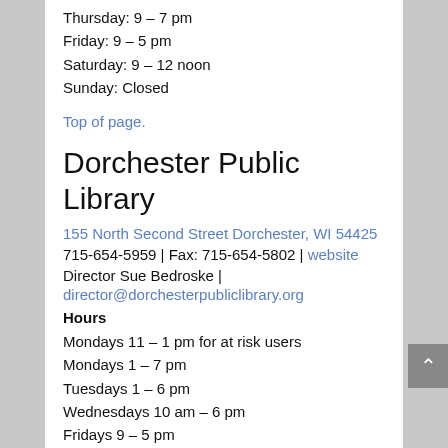Thursday: 9 – 7 pm
Friday: 9 – 5 pm
Saturday: 9 – 12 noon
Sunday: Closed
Top of page.
Dorchester Public Library
155 North Second Street Dorchester, WI 54425
715-654-5959 | Fax: 715-654-5802 | website
Director Sue Bedroske |
director@dorchesterpubliclibrary.org
Hours
Mondays 11 – 1 pm for at risk users
Mondays 1 – 7 pm
Tuesdays 1 – 6 pm
Wednesdays 10 am – 6 pm
Fridays 9 – 5 pm